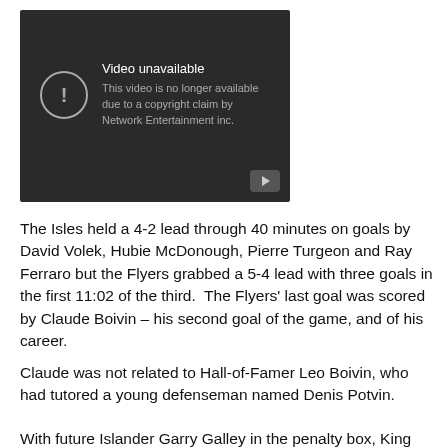[Figure (screenshot): YouTube video unavailable placeholder. Dark background with exclamation circle icon and text: 'Video unavailable — This video is no longer available due to a copyright claim by Network Entertainment inc.' YouTube play button icon in bottom right corner.]
The Isles held a 4-2 lead through 40 minutes on goals by David Volek, Hubie McDonough, Pierre Turgeon and Ray Ferraro but the Flyers grabbed a 5-4 lead with three goals in the first 11:02 of the third.  The Flyers' last goal was scored by Claude Boivin – his second goal of the game, and of his career.
Claude was not related to Hall-of-Famer Leo Boivin, who had tutored a young defenseman named Denis Potvin.
With future Islander Garry Galley in the penalty box, King